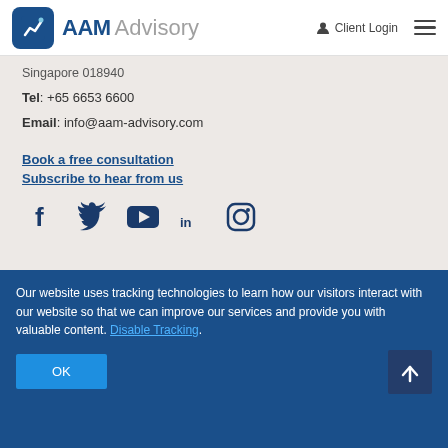AAM Advisory | Client Login
Singapore 018940
Tel: +65 6653 6600
Email: info@aam-advisory.com
Book a free consultation
Subscribe to hear from us
[Figure (infographic): Social media icons: Facebook, Twitter, YouTube, LinkedIn, Instagram]
Our website uses tracking technologies to learn how our visitors interact with our website so that we can improve our services and provide you with valuable content. Disable Tracking.